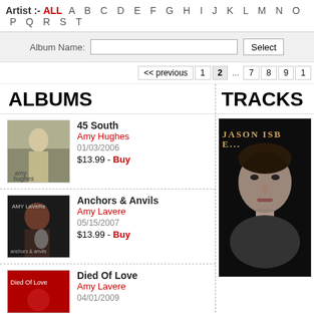Artist :- ALL A B C D E F G H I J K L M N O P Q R S T
Album Name: [search field] Select
<< previous 1 2 ... 7 8 9 1
ALBUMS
45 South
Amy Hughes
01/03/2006
$13.99 - Buy
Anchors & Anvils
Amy Lavere
05/15/2007
$13.99 - Buy
Died Of Love
Amy Lavere
04/01/2009
TRACKS
[Figure (photo): Album cover showing Jason Isbell in black and white portrait photo with text JASON ISBE...]